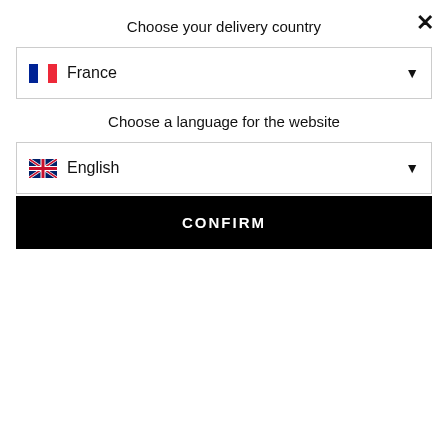Choose your delivery country
[Figure (screenshot): Dropdown selector showing France with French flag]
Choose a language for the website
[Figure (screenshot): Dropdown selector showing English with UK flag]
CONFIRM
ABOUT FRAGONARD
TERMS AND CONDITIONS
OUR WEBSITES
LLOW US ON ...